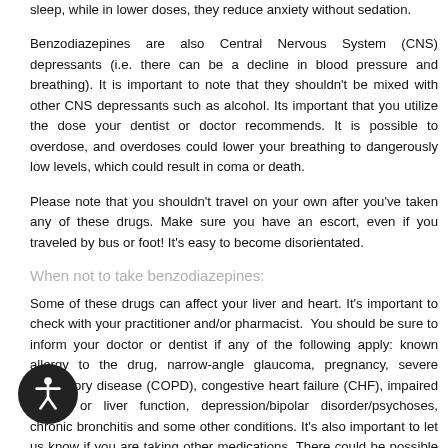sleep, while in lower doses, they reduce anxiety without sedation.
Benzodiazepines are also Central Nervous System (CNS) depressants (i.e. there can be a decline in blood pressure and breathing). It is important to note that they shouldn’t be mixed with other CNS depressants such as alcohol. Its important that you utilize the dose your dentist or doctor recommends. It is possible to overdose, and overdoses could lower your breathing to dangerously low levels, which could result in coma or death.
Please note that you shouldn’t travel on your own after you’ve taken any of these drugs. Make sure you have an escort, even if you traveled by bus or foot! It’s easy to become disorientated.
When not to take benzodiazepines:
Some of these drugs can affect your liver and heart. It’s important to check with your practitioner and/or pharmacist. You should be sure to inform your doctor or dentist if any of the following apply: known allergy to the drug, narrow-angle glaucoma, pregnancy, severe respiratory disease (COPD), congestive heart failure (CHF), impaired kidney or liver function, depression/bipolar disorder/psychoses, chronic bronchitis and some other conditions. It’s also important to let us know if you are taking other medications. There could be possible drug interactions.